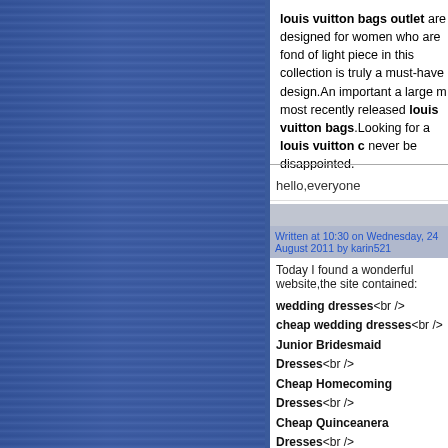louis vuitton bags outlet are designed for women who are fond of light piece in this collection is truly a must-have design.An important a large m most recently released louis vuitton bags.Looking for a louis vuitton c never be disappointed.
hello,everyone
Written at 10:30 on Wednesday, 24 August 2011 by karin521
Today I found a wonderful website,the site contained:
wedding dresses<br />
cheap wedding dresses<br />
Junior Bridesmaid Dresses<br />
Cheap Homecoming Dresses<br />
Cheap Quinceanera Dresses<br />
Inexpensive bridesmaid dresses<br />
Wholesale wedding dress<br />
Wholesale wedding dress<br />
Discount wedding dresses<br />
Cheap Maternity Wedding Dresses<br />
A-Line Wedding Dresses<br />
Cheap Couture Wedding Dresses<br />